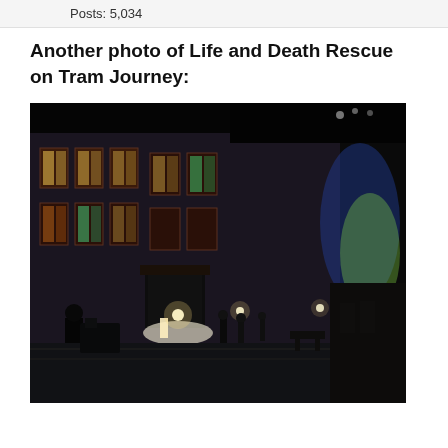Posts: 5,034
Another photo of Life and Death Rescue on Tram Journey:
[Figure (photo): Night-time photograph of a period street scene with a brick building, illuminated windows, street lights, and several figures standing on a platform or street. Green and blue lighting visible on the right side. Dark atmospheric scene suggesting a film or theatre set.]